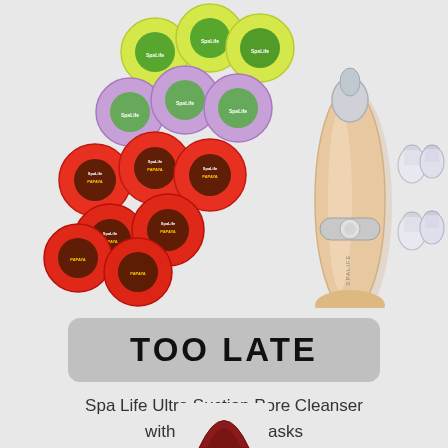[Figure (photo): Spa Life Ultra Suction Pore Cleanser device in beige/gold color with 4 suction tip attachments, alongside a collection of 18 circular facial mask packets in yellow/green, purple/green, and red/orange colors arranged in a cluster]
TOO LATE
Spa Life Ultra Suction Pore Cleanser with 18 Facial Masks
[Figure (photo): Partial view of another product at the bottom of the page, showing what appears to be a dark red/maroon item]